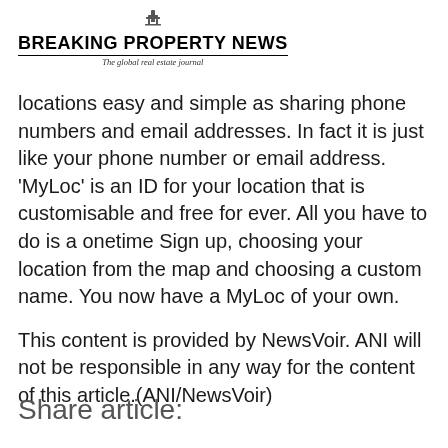BREAKING PROPERTY NEWS – The global real estate journal
locations easy and simple as sharing phone numbers and email addresses. In fact it is just like your phone number or email address. 'MyLoc' is an ID for your location that is customisable and free for ever. All you have to do is a onetime Sign up, choosing your location from the map and choosing a custom name. You now have a MyLoc of your own.
This content is provided by NewsVoir. ANI will not be responsible in any way for the content of this article.(ANI/NewsVoir)
Share article: